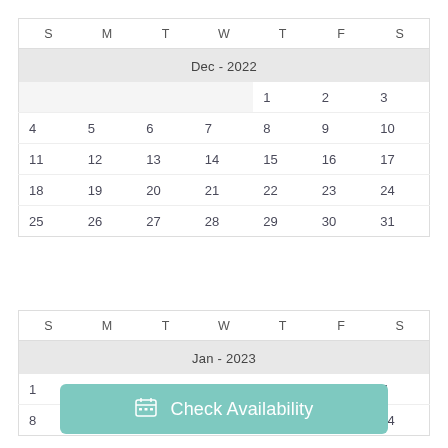| S | M | T | W | T | F | S |
| --- | --- | --- | --- | --- | --- | --- |
|  |  |  |  | 1 | 2 | 3 |
| 4 | 5 | 6 | 7 | 8 | 9 | 10 |
| 11 | 12 | 13 | 14 | 15 | 16 | 17 |
| 18 | 19 | 20 | 21 | 22 | 23 | 24 |
| 25 | 26 | 27 | 28 | 29 | 30 | 31 |
| S | M | T | W | T | F | S |
| --- | --- | --- | --- | --- | --- | --- |
| 1 | 2 | 3 | 4 | 5 | 6 | 7 |
| 8 | 9 | 10 | 11 | 12 | 13 | 14 |
Check Availability